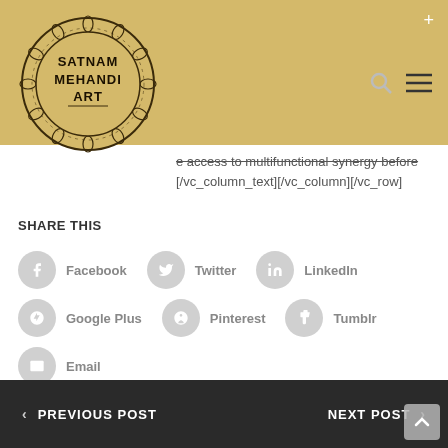[Figure (logo): Satnam Mehandi Art ornate circular logo with decorative border on gold/tan background header]
e access to multifunctional synergy before [/vc_column_text][/vc_column][/vc_row]
SHARE THIS
Facebook
Twitter
LinkedIn
Google Plus
Pinterest
Tumblr
Email
< PREVIOUS POST    NEXT POST >